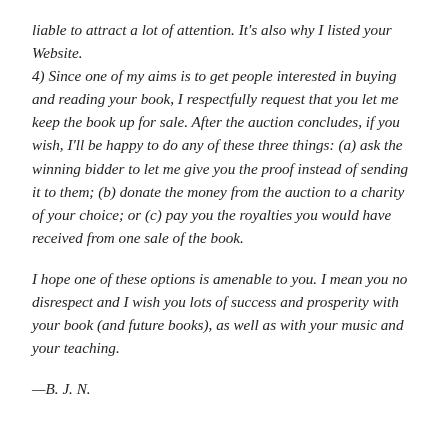liable to attract a lot of attention. It's also why I listed your Website.
4) Since one of my aims is to get people interested in buying and reading your book, I respectfully request that you let me keep the book up for sale. After the auction concludes, if you wish, I'll be happy to do any of these three things: (a) ask the winning bidder to let me give you the proof instead of sending it to them; (b) donate the money from the auction to a charity of your choice; or (c) pay you the royalties you would have received from one sale of the book.
I hope one of these options is amenable to you. I mean you no disrespect and I wish you lots of success and prosperity with your book (and future books), as well as with your music and your teaching.
—B. J. N.